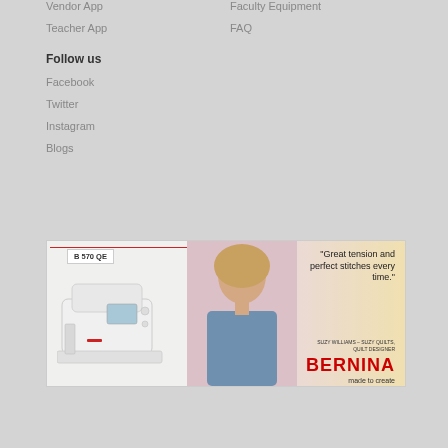Vendor App
Teacher App
Faculty Equipment
FAQ
Follow us
Facebook
Twitter
Instagram
Blogs
[Figure (photo): BERNINA B 570 QE sewing machine advertisement featuring a woman and the quote 'Great tension and perfect stitches every time.' by Suzy Williams – Suzy Quilts, Quilt Designer. BERNINA made to create.]